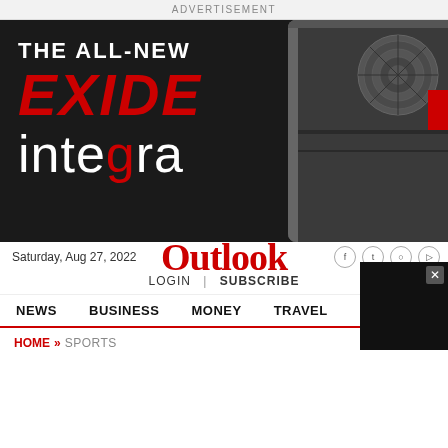ADVERTISEMENT
[Figure (illustration): Advertisement banner for Exide Integra product on dark background with device image. Text reads: THE ALL-NEW EXIDE integra]
Saturday, Aug 27, 2022 Outlook
LOGIN | SUBSCRIBE
NEWS   BUSINESS   MONEY   TRAVEL   SPORTS
HOME » SPORTS